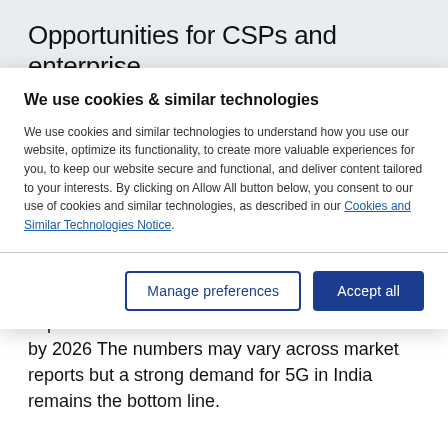Opportunities for CSPs and enterprise
We use cookies & similar technologies
We use cookies and similar technologies to understand how you use our website, optimize its functionality, to create more valuable experiences for you, to keep our website secure and functional, and deliver content tailored to your interests. By clicking on Allow All button below, you consent to our use of cookies and similar technologies, as described in our Cookies and Similar Technologies Notice.
As per estimates, 5G connections in India is expected to reach near 369 million subscribers by 2026 The numbers may vary across market reports but a strong demand for 5G in India remains the bottom line.